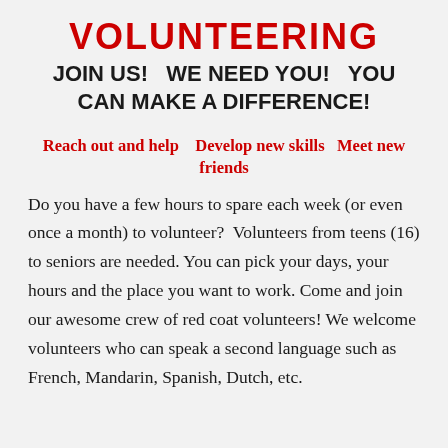VOLUNTEERING
JOIN US!   WE NEED YOU!   YOU CAN MAKE A DIFFERENCE!
Reach out and help    Develop new skills   Meet new friends
Do you have a few hours to spare each week (or even once a month) to volunteer?  Volunteers from teens (16) to seniors are needed. You can pick your days, your hours and the place you want to work. Come and join our awesome crew of red coat volunteers! We welcome volunteers who can speak a second language such as French, Mandarin, Spanish, Dutch, etc.